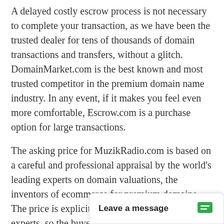A delayed costly escrow process is not necessary to complete your transaction, as we have been the trusted dealer for tens of thousands of domain transactions and transfers, without a glitch. DomainMarket.com is the best known and most trusted competitor in the premium domain name industry. In any event, if it makes you feel even more comfortable, Escrow.com is a purchase option for large transactions.
The asking price for MuzikRadio.com is based on a careful and professional appraisal by the world's leading experts on domain valuations, the inventors of ecommerce for premium domains. The price is explicitly certified to be fair by real experts, so the buyer can be confiden[t] and investment oppo[rtunity]